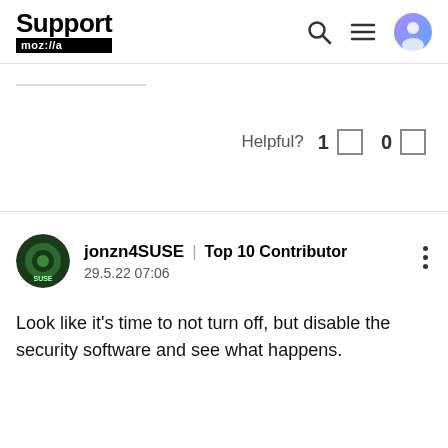Support mozilla // (navigation bar with search, menu, user icons)
Helpful? 1 0
jonzn4SUSE | Top 10 Contributor
29.5.22 07:06
Look like it's time to not turn off, but disable the security software and see what happens.